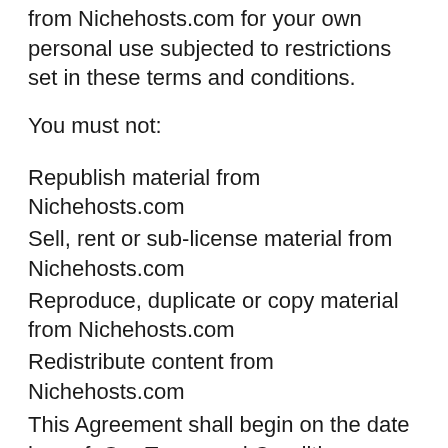from Nichehosts.com for your own personal use subjected to restrictions set in these terms and conditions.
You must not:
Republish material from Nichehosts.com
Sell, rent or sub-license material from Nichehosts.com
Reproduce, duplicate or copy material from Nichehosts.com
Redistribute content from Nichehosts.com
This Agreement shall begin on the date hereof. Our Terms and Conditions were created with the help of the Terms And Conditions Template.
Parts of this website offer an opportunity for